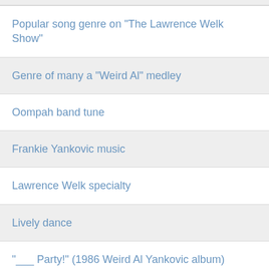Popular song genre on "The Lawrence Welk Show"
Genre of many a "Weird Al" medley
Oompah band tune
Frankie Yankovic music
Lawrence Welk specialty
Lively dance
"___ Party!" (1986 Weird Al Yankovic album)
Oktoberfest tune